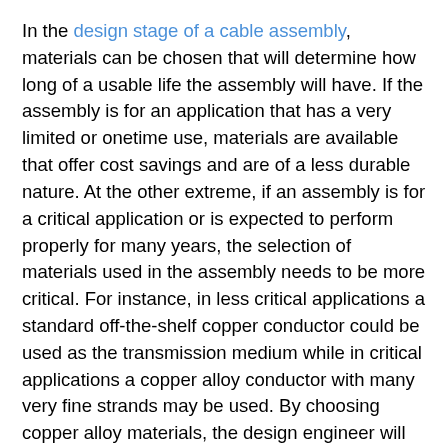In the design stage of a cable assembly, materials can be chosen that will determine how long of a usable life the assembly will have. If the assembly is for an application that has a very limited or onetime use, materials are available that offer cost savings and are of a less durable nature. At the other extreme, if an assembly is for a critical application or is expected to perform properly for many years, the selection of materials used in the assembly needs to be more critical. For instance, in less critical applications a standard off-the-shelf copper conductor could be used as the transmission medium while in critical applications a copper alloy conductor with many very fine strands may be used. By choosing copper alloy materials, the design engineer will develop an assembly that will provide a longer flex life and be more durable.
Another decision to prevent premature obsolescence of a cable assembly due to failure is the choice of jacket materials. The material chosen for the jacket of an assembly will play a key role in the performance and usable life of that assembly. While the most obvious purpose of the assembly jacket is to make the assembly cosmetically attractive, the cable jacket also serves